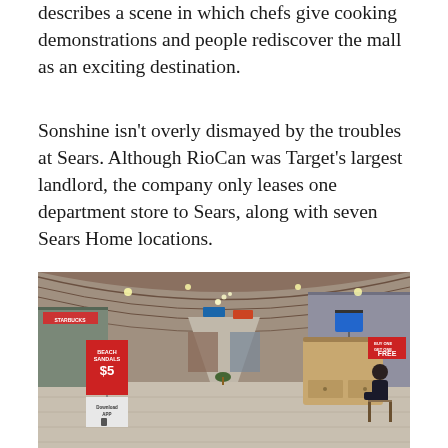describes a scene in which chefs give cooking demonstrations and people rediscover the mall as an exciting destination.
Sonshine isn't overly dismayed by the troubles at Sears. Although RioCan was Target's largest landlord, the company only leases one department store to Sears, along with seven Sears Home locations.
[Figure (photo): Interior of a shopping mall corridor showing stores on both sides, a peaked wooden ceiling with lights, a red promotional sign reading 'BEACH SANDALS $5' on the left, a wooden kiosk booth on the right with a man sitting beside it, and a sign reading 'FREE' on the right side.]